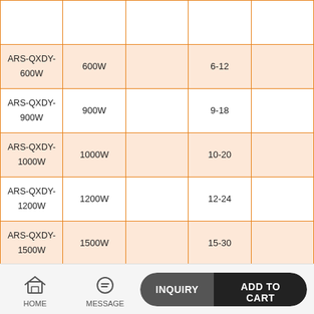| Model | Power |  | Range |  |
| --- | --- | --- | --- | --- |
| ARS-QXDY-
600W | 600W |  | 6-12 |  |
| ARS-QXDY-
900W | 900W |  | 9-18 |  |
| ARS-QXDY-
1000W | 1000W |  | 10-20 |  |
| ARS-QXDY-
1200W | 1200W |  | 12-24 |  |
| ARS-QXDY-
1500W | 1500W |  | 15-30 |  |
| ARS-QXDY-
1800W | 1800W |  | 18-36 |  |